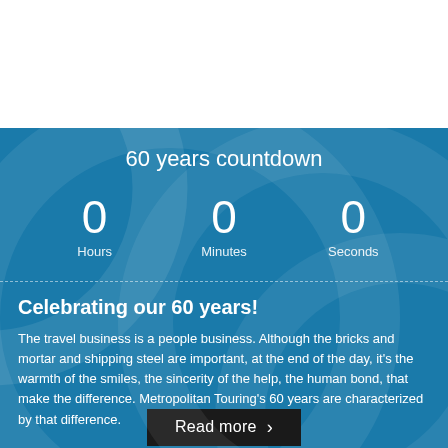[Figure (other): White blank area at top of page]
60 years countdown
0 Hours   0 Minutes   0 Seconds
Celebrating our 60 years!
The travel business is a people business. Although the bricks and mortar and shipping steel are important, at the end of the day, it's the warmth of the smiles, the sincerity of the help, the human bond, that make the difference. Metropolitan Touring's 60 years are characterized by that difference.
Read more